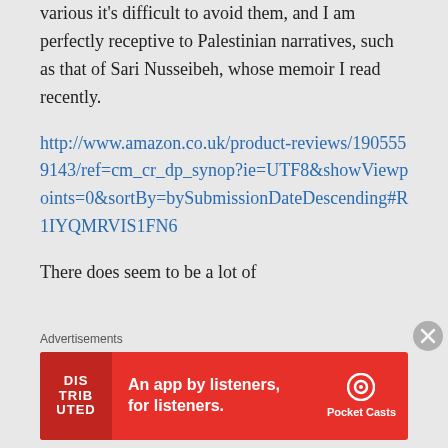various it's difficult to avoid them, and I am perfectly receptive to Palestinian narratives, such as that of Sari Nusseibeh, whose memoir I read recently.
http://www.amazon.co.uk/product-reviews/1905559143/ref=cm_cr_dp_synop?ie=UTF8&showViewpoints=0&sortBy=bySubmissionDateDescending#R1IYQMRVIS1FN6
There does seem to be a lot of
Advertisements
[Figure (other): Pocket Casts advertisement banner: red background with text 'An app by listeners, for listeners.' and Pocket Casts logo]